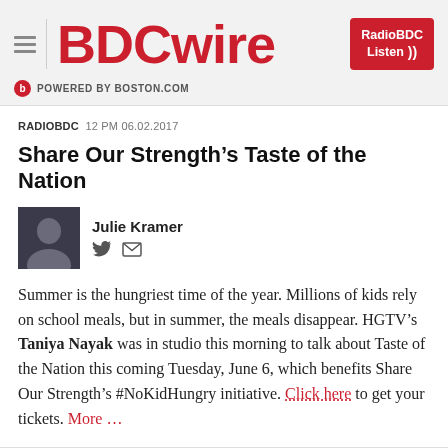BDCwire — POWERED BY BOSTON.COM
RADIOBDC   12 PM 06.02.2017
Share Our Strength's Taste of the Nation
Julie Kramer
Summer is the hungriest time of the year. Millions of kids rely on school meals, but in summer, the meals disappear. HGTV's Taniya Nayak was in studio this morning to talk about Taste of the Nation this coming Tuesday, June 6, which benefits Share Our Strength's #NoKidHungry initiative. Click here to get your tickets. More …